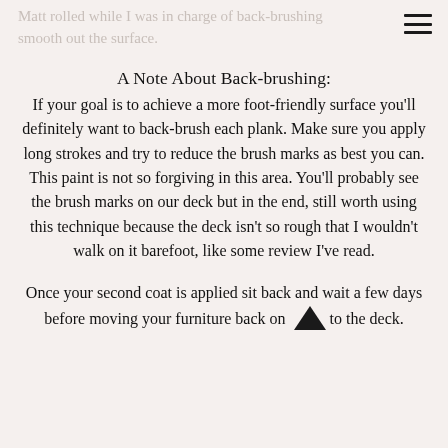Matt rolled while I was in charge of back-brushing smooth out the surface.
A Note About Back-brushing:
If your goal is to achieve a more foot-friendly surface you'll definitely want to back-brush each plank. Make sure you apply long strokes and try to reduce the brush marks as best you can. This paint is not so forgiving in this area. You'll probably see the brush marks on our deck but in the end, still worth using this technique because the deck isn't so rough that I wouldn't walk on it barefoot, like some review I've read.
Once your second coat is applied sit back and wait a few days before moving your furniture back on to the deck.